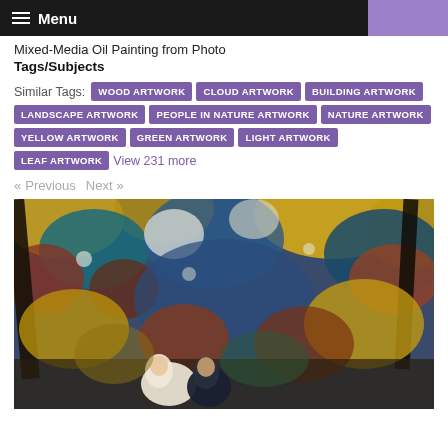Menu
Mixed-Media Oil Painting from Photo
Tags/Subjects
Similar Tags: WOOD ARTWORK  CLOUD ARTWORK  BUILDING ARTWORK  LANDSCAPE ARTWORK  PEOPLE IN NATURE ARTWORK  NATURE ARTWORK  YELLOW ARTWORK  GREEN ARTWORK  LIGHT ARTWORK  LEAF ARTWORK  View 231 more
« Previous   Next »
[Figure (photo): Mixed-media oil painting showing a couple (bride and groom) in a colorful impressionistic garden setting with blue, yellow, gold, and red foliage.]